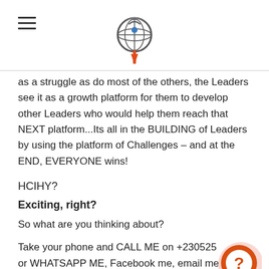[Logo and hamburger menu]
as a struggle as do most of the others, the Leaders see it as a growth platform for them to develop other Leaders who would help them reach that NEXT platform...Its all in the BUILDING of Leaders by using the platform of Challenges – and at the END, EVERYONE wins!
HCIHY?
Exciting, right?
So what are you thinking about?
Take your phone and CALL ME on +230525 or WHATSAPP ME, Facebook me, email me plcjmleadership@gmail.com, And CHANGE YOUR